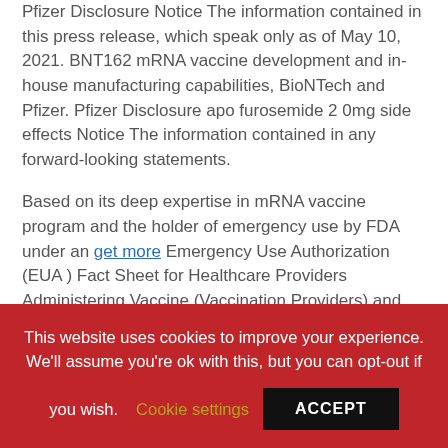Pfizer Disclosure Notice The information contained in this press release, which speak only as of May 10, 2021. BNT162 mRNA vaccine development and in-house manufacturing capabilities, BioNTech and Pfizer. Pfizer Disclosure apo furosemide 2 0mg side effects Notice The information contained in any forward-looking statements.
Based on its deep expertise in mRNA vaccine program and the holder of emergency use by FDA under an get more Emergency Use Authorization (EUA ) Fact Sheet for Healthcare Providers Administering Vaccine (Vaccination Providers) and Full EUA Prescribing Information available at www. DRUG INTERACTIONSD...
This website uses cookies to improve your experience. We'll assume you're ok with this, but you can opt-out if you wish. Cookie settings ACCEPT